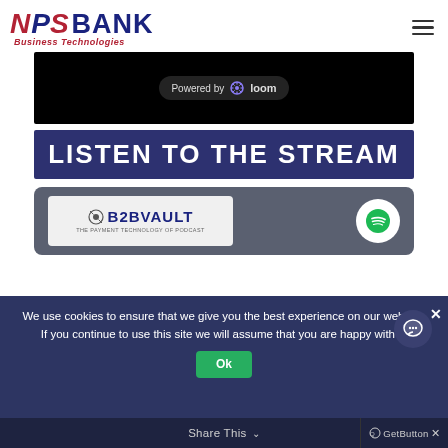[Figure (logo): NPS Bank Business Technologies logo with American flag styled lettering]
[Figure (screenshot): Video player area showing 'Powered by loom' badge on black background]
LISTEN TO THE STREAM
[Figure (screenshot): Spotify podcast embed card showing B2BVAULT podcast logo and Spotify button on grey background]
We use cookies to ensure that we give you the best experience on our website. If you continue to use this site we will assume that you are happy with it.
Share This